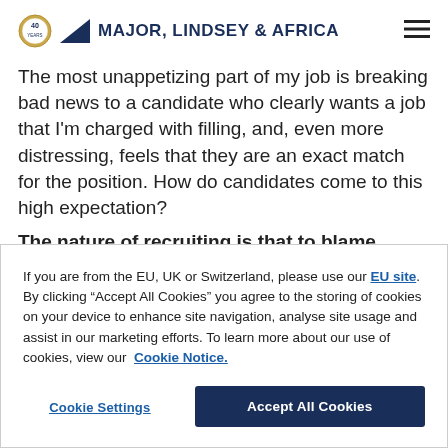Major, Lindsey & Africa
The most unappetizing part of my job is breaking bad news to a candidate who clearly wants a job that I'm charged with filling, and, even more distressing, feels that they are an exact match for the position. How do candidates come to this high expectation?
The nature of recruiting is that to blame...
If you are from the EU, UK or Switzerland, please use our EU site. By clicking “Accept All Cookies” you agree to the storing of cookies on your device to enhance site navigation, analyse site usage and assist in our marketing efforts. To learn more about our use of cookies, view our Cookie Notice.
Cookie Settings | Accept All Cookies